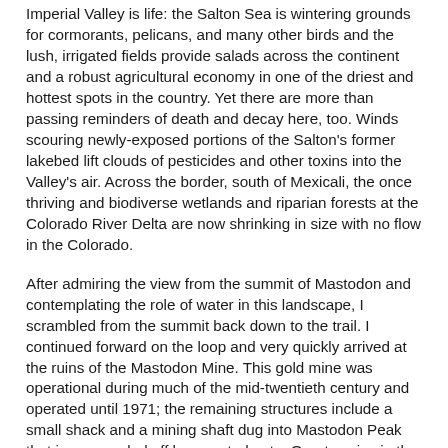Imperial Valley is life: the Salton Sea is wintering grounds for cormorants, pelicans, and many other birds and the lush, irrigated fields provide salads across the continent and a robust agricultural economy in one of the driest and hottest spots in the country. Yet there are more than passing reminders of death and decay here, too. Winds scouring newly-exposed portions of the Salton's former lakebed lift clouds of pesticides and other toxins into the Valley's air. Across the border, south of Mexicali, the once thriving and biodiverse wetlands and riparian forests at the Colorado River Delta are now shrinking in size with no flow in the Colorado.
After admiring the view from the summit of Mastodon and contemplating the role of water in this landscape, I scrambled from the summit back down to the trail. I continued forward on the loop and very quickly arrived at the ruins of the Mastodon Mine. This gold mine was operational during much of the mid-twentieth century and operated until 1971; the remaining structures include a small shack and a mining shaft dug into Mastodon Peak that is now sealed off by a grated gate. Quartz veins in the monzogranite here hold